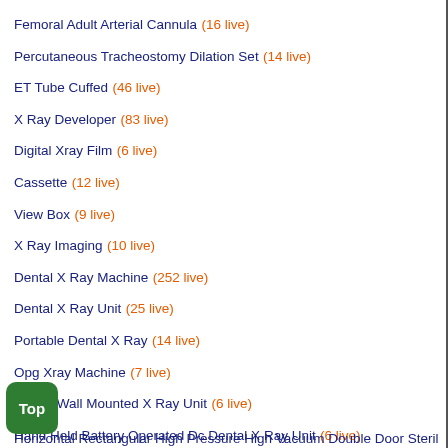Femoral Adult Arterial Cannula (16 live)
Percutaneous Tracheostomy Dilation Set (14 live)
ET Tube Cuffed (46 live)
X Ray Developer (83 live)
Digital Xray Film (6 live)
Cassette (12 live)
View Box (9 live)
X Ray Imaging (10 live)
Dental X Ray Machine (252 live)
Dental X Ray Unit (25 live)
Portable Dental X Ray (14 live)
Opg Xray Machine (7 live)
Dental Wall Mounted X Ray Unit (6 live)
Hand Held Battery Operated Dc Dental X Ray Unit (6 live)
Horizontal Rectangular High Pressure High Vacuum Double Door Sterilizer (5 live)